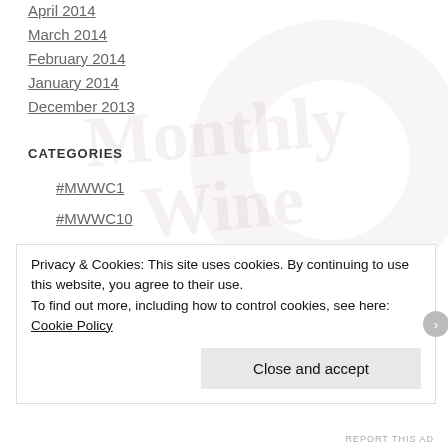April 2014
March 2014
February 2014
January 2014
December 2013
CATEGORIES
#MWWC1
#MWWC10
#MWWC11
#MWWC13
Privacy & Cookies: This site uses cookies. By continuing to use this website, you agree to their use. To find out more, including how to control cookies, see here: Cookie Policy
Close and accept
REPORT THIS AD